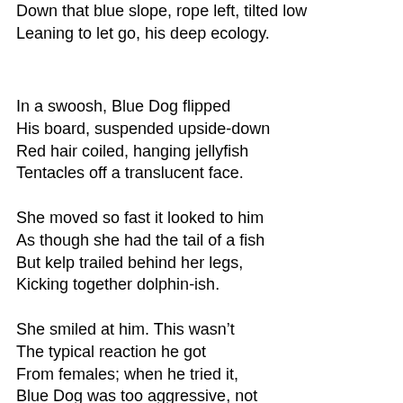Down that blue slope, rope left, tilted low
Leaning to let go, his deep ecology.
In a swoosh, Blue Dog flipped
His board, suspended upside-down
Red hair coiled, hanging jellyfish
Tentacles off a translucent face.
She moved so fast it looked to him
As though she had the tail of a fish
But kelp trailed behind her legs,
Kicking together dolphin-ish.
She smiled at him. This wasn't
The typical reaction he got
From females; when he tried it,
Blue Dog was too aggressive, not